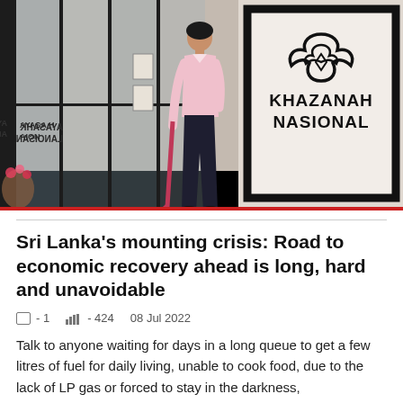[Figure (photo): Interior of a building lobby with glass doors and a Khazanah Nasional sign. A woman in a pink top and dark pants walks through, holding an umbrella. The Khazanah Nasional logo and text are visible on a large framed sign on the right wall. A mirrored reflection of the logo appears on the left.]
Sri Lanka’s mounting crisis: Road to economic recovery ahead is long, hard and unavoidable
□ - 1   · 424   08 Jul 2022
Talk to anyone waiting for days in a long queue to get a few litres of fuel for daily living, unable to cook food, due to the lack of LP gas or forced to stay in the darkness,